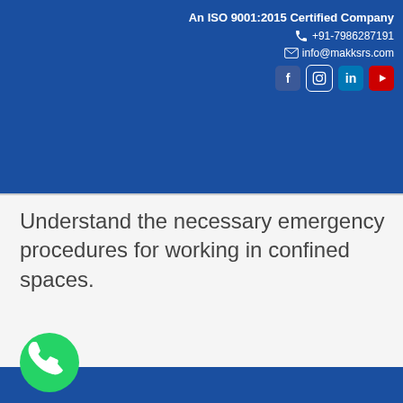An ISO 9001:2015 Certified Company | +91-7986287191 | info@makksrs.com
Understand the necessary emergency procedures for working in confined spaces.
Our Company Profile
[Figure (logo): WhatsApp icon button (green circle with phone handset)]